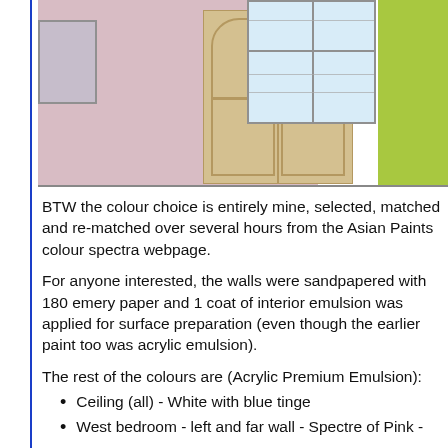[Figure (photo): Interior room photo showing pink walls, a wooden wardrobe with arched panel doors, windows with grilles, and a bright green/yellow painted wall on the right side.]
BTW the colour choice is entirely mine, selected, matched and re-matched over several hours from the Asian Paints colour spectra webpage.
For anyone interested, the walls were sandpapered with 180 emery paper and 1 coat of interior emulsion was applied for surface preparation (even though the earlier paint too was acrylic emulsion).
The rest of the colours are (Acrylic Premium Emulsion):
Ceiling (all) - White with blue tinge
West bedroom - left and far wall - Spectre of Pink -